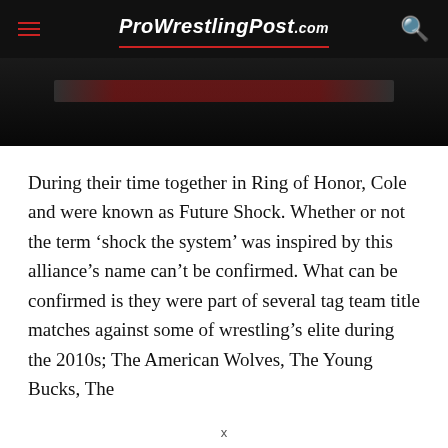ProWrestlingPost.com
[Figure (photo): Dark hero image with a reddish/dark horizontal bar element, partially visible at the top of the article page.]
During their time together in Ring of Honor, Cole and were known as Future Shock. Whether or not the term ‘shock the system’ was inspired by this alliance’s name can’t be confirmed. What can be confirmed is they were part of several tag team title matches against some of wrestling’s elite during the 2010s; The American Wolves, The Young Bucks, The
x